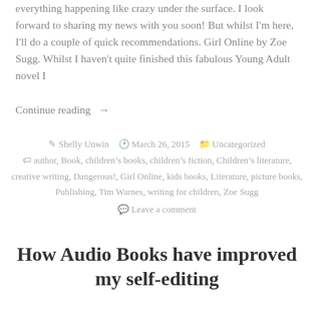everything happening like crazy under the surface. I look forward to sharing my news with you soon! But whilst I'm here, I'll do a couple of quick recommendations. Girl Online by Zoe Sugg. Whilst I haven't quite finished this fabulous Young Adult novel I
Continue reading →
By Shelly Unwin   March 26, 2015   Uncategorized
author, Book, children's books, children's fiction, Children's literature, creative writing, Dangerous!, Girl Online, kids books, Literature, picture books, Publishing, Tim Warnes, writing for children, Zoe Sugg
Leave a comment
How Audio Books have improved my self-editing